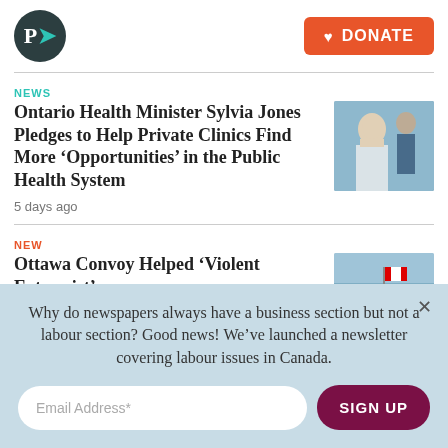P> | DONATE
NEWS
Ontario Health Minister Sylvia Jones Pledges to Help Private Clinics Find More ‘Opportunities’ in the Public Health System
5 days ago
[Figure (photo): Photo of a woman in a white jacket, possibly at a press conference, with another person visible in background]
NEW
Ottawa Convoy Helped ‘Violent Extremist’ — (truncated)
[Figure (photo): Silhouettes of people with arms raised, one holding a Canadian flag, against a light sky]
Why do newspapers always have a business section but not a labour section? Good news! We’ve launched a newsletter covering labour issues in Canada.
Email Address* | SIGN UP